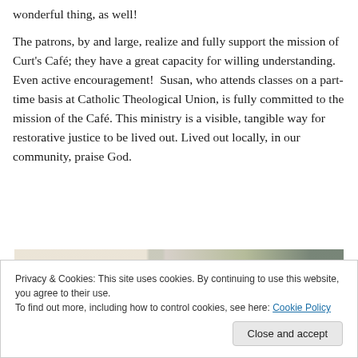wonderful thing, as well! The patrons, by and large, realize and fully support the mission of Curt's Café; they have a great capacity for willing understanding. Even active encouragement!  Susan, who attends classes on a part-time basis at Catholic Theological Union, is fully committed to the mission of the Café. This ministry is a visible, tangible way for restorative justice to be lived out. Lived out locally, in our community, praise God.
[Figure (photo): Partial image strip visible at bottom of main content area, appears to show food or café scene]
Privacy & Cookies: This site uses cookies. By continuing to use this website, you agree to their use.
To find out more, including how to control cookies, see here: Cookie Policy